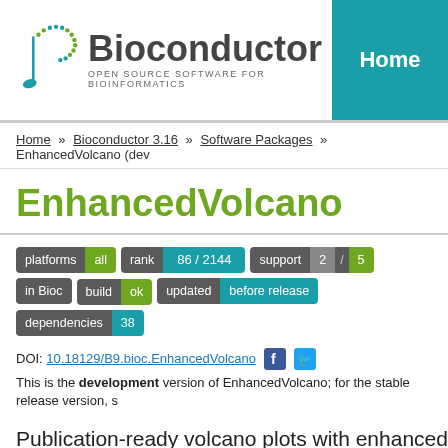[Figure (logo): Bioconductor logo with musical note and colorful dots, text reads 'Bioconductor OPEN SOURCE SOFTWARE FOR BIOINFORMATICS']
Home
Home » Bioconductor 3.16 » Software Packages » EnhancedVolcano (dev
EnhancedVolcano
platforms all   rank 86 / 2144   support 2 / 5   in Bioc
build ok   updated before release   dependencies 38
DOI: 10.18129/B9.bioc.EnhancedVolcano
This is the development version of EnhancedVolcano; for the stable release version, s
Publication-ready volcano plots with enhanced colourin
Bioconductor version: Development (3.16)
Volcano plots represent a useful way to visualise the results of differential expression